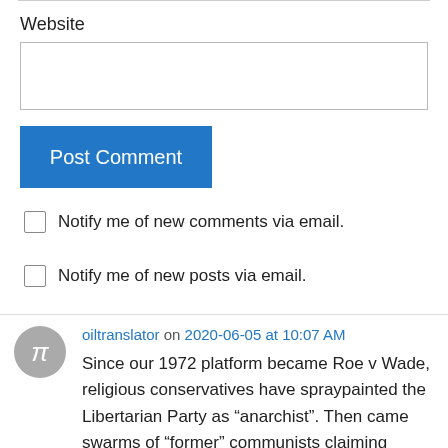Website
Post Comment
Notify me of new comments via email.
Notify me of new posts via email.
oiltranslator on 2020-06-05 at 10:07 AM
Since our 1972 platform became Roe v Wade, religious conservatives have spraypainted the Libertarian Party as “anarchist”. Then came swarms of “former” communists claiming